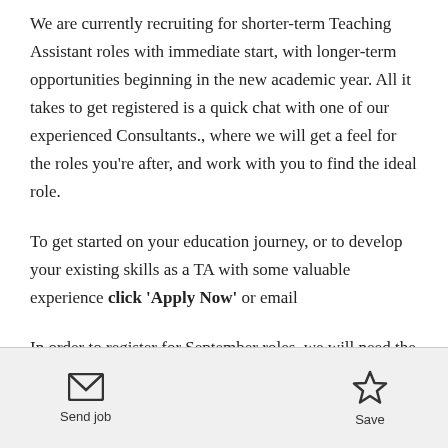We are currently recruiting for shorter-term Teaching Assistant roles with immediate start, with longer-term opportunities beginning in the new academic year. All it takes to get registered is a quick chat with one of our experienced Consultants., where we will get a feel for the roles you're after, and work with you to find the ideal role.
To get started on your education journey, or to develop your existing skills as a TA with some valuable experience click 'Apply Now' or email
In order to register for September roles, we will need the
Send job   Save